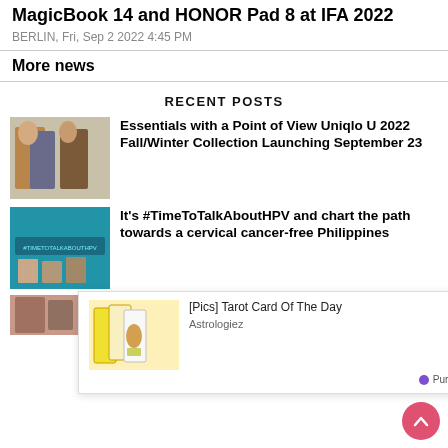MagicBook 14 and HONOR Pad 8 at IFA 2022
BERLIN, Fri, Sep 2 2022 4:45 PM
More news
RECENT POSTS
[Figure (photo): Two models wearing fall/winter coats — one in tan overcoat, one in brown leather jacket]
Essentials with a Point of View Uniqlo U 2022 Fall/Winter Collection Launching September 23
[Figure (photo): Panel discussion with #TimeToTalkAboutHPV banner on a teal background]
It's #TimeToTalkAboutHPV and chart the path towards a cervical cancer-free Philippines
[Figure (photo): Tarot cards advertisement — [Pics] Tarot Card Of The Day by Astrologiez via PurpleAds]
[Figure (photo): Partial bottom thumbnail image]
Southeast Asia Challenge...